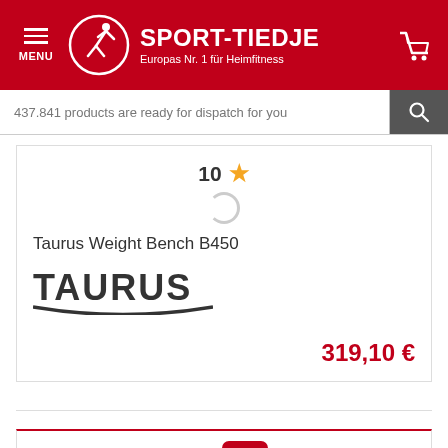[Figure (screenshot): Sport-Tiedje website header with red background, hamburger menu, logo with runner icon, brand name SPORT-TIEDJE, tagline 'Europas Nr. 1 für Heimfitness', and shopping cart icon]
437.841 products are ready for dispatch for you
10 ★
Taurus Weight Bench B450
[Figure (logo): TAURUS brand logo in bold dark gray text with arched underline]
319,10 €
SPORT-TIEDJE OFFERS YOU